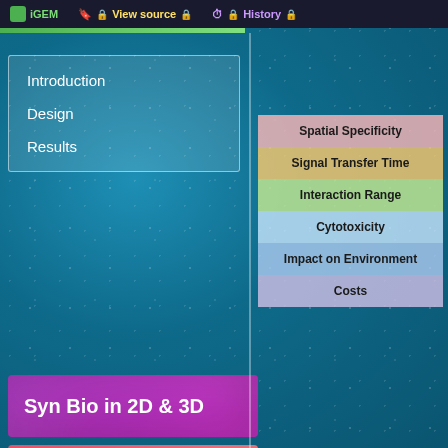iGEM | View source | History
Introduction
Design
Results
Syn Bio in 2D & 3D
Phototaxis
| Spatial Specificity |
| Signal Transfer Time |
| Interaction Range |
| Cytotoxicity |
| Impact on Environment |
| Costs |
Fig.
Intuitively, light signal p... chemical diffusion. This... response is guaranteed...
Additionally, the most...